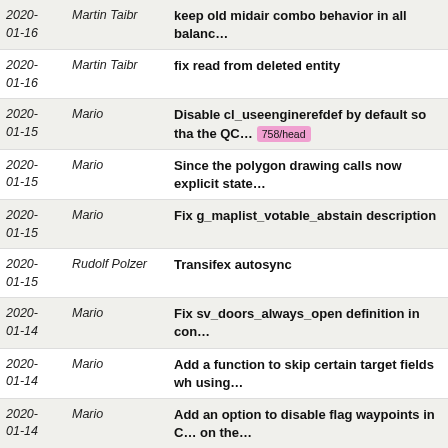| Date | Author | Message |
| --- | --- | --- |
| 2020-01-16 | Martin Taibr | keep old midair combo behavior in all balan… |
| 2020-01-16 | Martin Taibr | fix read from deleted entity |
| 2020-01-15 | Mario | Disable cl_useenginerefdef by default so tha the QC… 758/head |
| 2020-01-15 | Mario | Since the polygon drawing calls now explicit state… |
| 2020-01-15 | Mario | Fix g_maplist_votable_abstain description |
| 2020-01-15 | Rudolf Polzer | Transifex autosync |
| 2020-01-14 | Mario | Fix sv_doors_always_open definition in conf… |
| 2020-01-14 | Mario | Add a function to skip certain target fields wh using… |
| 2020-01-14 | Mario | Add an option to disable flag waypoints in C… on the… |
| 2020-01-14 | Martin Taibr | add midaircombo_own to balance files |